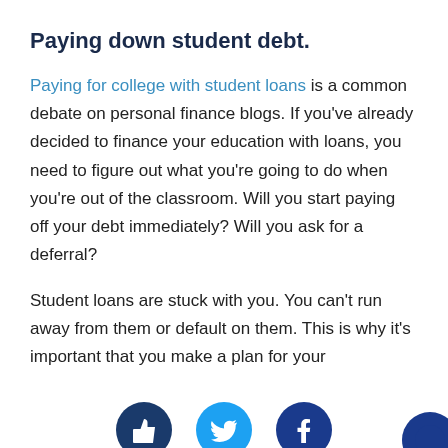Paying down student debt.
Paying for college with student loans is a common debate on personal finance blogs. If you've already decided to finance your education with loans, you need to figure out what you're going to do when you're out of the classroom. Will you start paying off your debt immediately? Will you ask for a deferral?
Student loans are stuck with you. You can't run away from them or default on them. This is why it's important that you make a plan for your
[Figure (infographic): Social media share buttons: thumbs up (dark blue), Twitter bird (light blue), Facebook f (dark blue), and a partial dark blue button on the right edge, arranged in a row at the bottom of the page.]